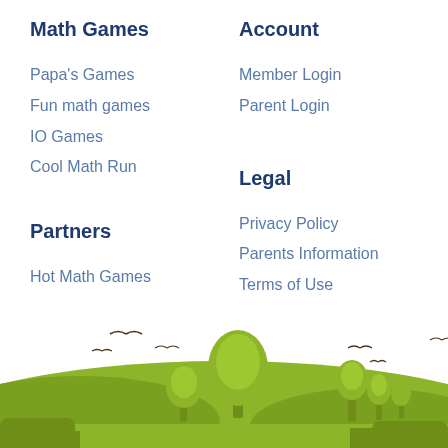Math Games
Papa's Games
Fun math games
IO Games
Cool Math Run
Partners
Hot Math Games
Account
Member Login
Parent Login
Legal
Privacy Policy
Parents Information
Terms of Use
Privacy Policy (Kids & Parents)
[Figure (illustration): Outdoor scene with green hills, trees, and birds flying, decorative footer illustration]